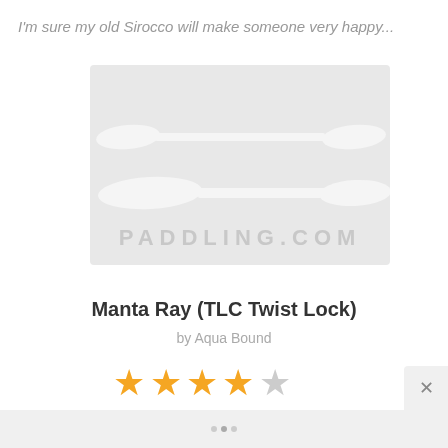I'm sure my old Sirocco will make someone very happy...
[Figure (logo): Paddling.com logo with two crossed paddles above the text PADDLING.COM in light gray]
Manta Ray (TLC Twist Lock)
by Aqua Bound
[Figure (other): 4 out of 5 star rating shown as yellow filled stars and one gray star]